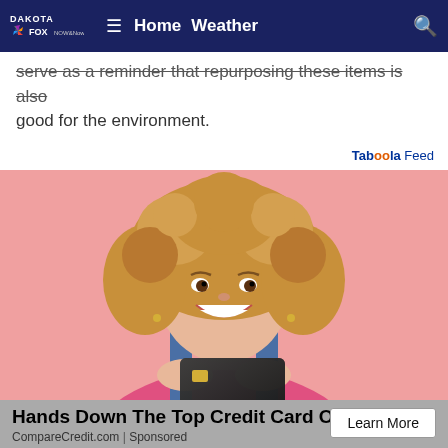DAKOTA FOX NOW & NOW — Home | Weather
serve as a reminder that repurposing these items is also good for the environment.
Taboola Feed
[Figure (photo): Young smiling woman with curly hair holding a dark credit card against a pink background, wearing a pink sweater and denim overalls.]
Hands Down The Top Credit Card Of 2022!
CompareCredit.com | Sponsored